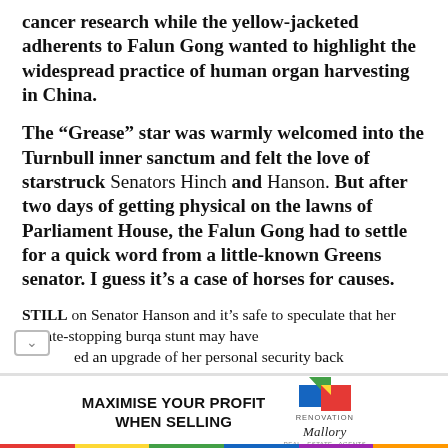cancer research while the yellow-jacketed adherents to Falun Gong wanted to highlight the widespread practice of human organ harvesting in China.
The “Grease” star was warmly welcomed into the Turnbull inner sanctum and felt the love of starstruck Senators Hinch and Hanson. But after two days of getting physical on the lawns of Parliament House, the Falun Gong had to settle for a quick word from a little-known Greens senator. I guess it’s a case of horses for causes.
STILL on Senator Hanson and it’s safe to speculate that her Senate-stopping burqa stunt may have triggered an upgrade of her personal security back
[Figure (logo): Renovation Mallory advertisement with coloured logo and text MAXIMISE YOUR PROFIT WHEN SELLING]